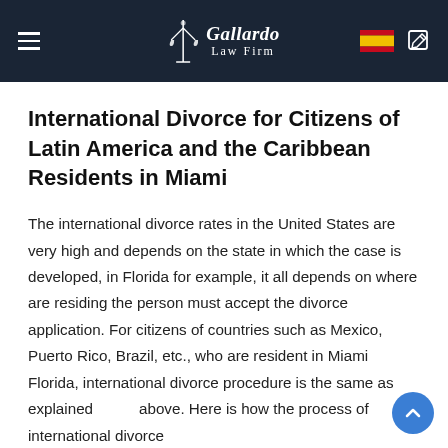Gallardo Law Firm
International Divorce for Citizens of Latin America and the Caribbean Residents in Miami
The international divorce rates in the United States are very high and depends on the state in which the case is developed, in Florida for example, it all depends on where are residing the person must accept the divorce application. For citizens of countries such as Mexico, Puerto Rico, Brazil, etc., who are resident in Miami Florida, international divorce procedure is the same as explained above. Here is how the process of international divorce for Cuban